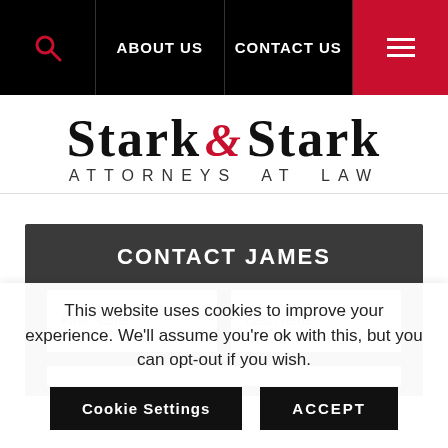ABOUT US | CONTACT US
[Figure (logo): Stark & Stark Attorneys at Law law firm logo with serif font and red ampersand]
CONTACT JAMES
First Name* | Last Name* form fields
This website uses cookies to improve your experience. We'll assume you're ok with this, but you can opt-out if you wish.
Cookie Settings | ACCEPT